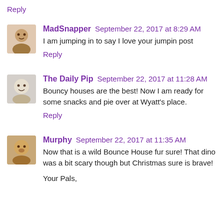Reply
MadSnapper  September 22, 2017 at 8:29 AM
I am jumping in to say I love your jumpin post
Reply
The Daily Pip  September 22, 2017 at 11:28 AM
Bouncy houses are the best! Now I am ready for some snacks and pie over at Wyatt's place.
Reply
Murphy  September 22, 2017 at 11:35 AM
Now that is a wild Bounce House fur sure! That dino was a bit scary though but Christmas sure is brave!
Your Pals,